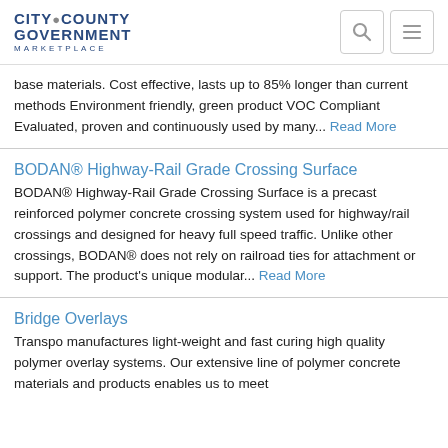CITY COUNTY GOVERNMENT MARKETPLACE
base materials. Cost effective, lasts up to 85% longer than current methods Environment friendly, green product VOC Compliant Evaluated, proven and continuously used by many... Read More
BODAN® Highway-Rail Grade Crossing Surface
BODAN® Highway-Rail Grade Crossing Surface is a precast reinforced polymer concrete crossing system used for highway/rail crossings and designed for heavy full speed traffic. Unlike other crossings, BODAN® does not rely on railroad ties for attachment or support. The product's unique modular... Read More
Bridge Overlays
Transpo manufactures light-weight and fast curing high quality polymer overlay systems. Our extensive line of polymer concrete materials and products enables us to meet